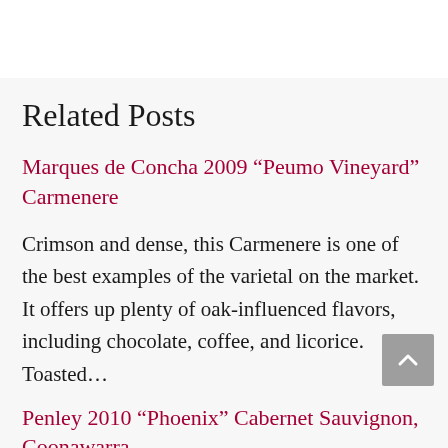Related Posts
Marques de Concha 2009 “Peumo Vineyard” Carmenere
Crimson and dense, this Carmenere is one of the best examples of the varietal on the market. It offers up plenty of oak-influenced flavors, including chocolate, coffee, and licorice.  Toasted…
Penley 2010 “Phoenix” Cabernet Sauvignon, Coonawarra